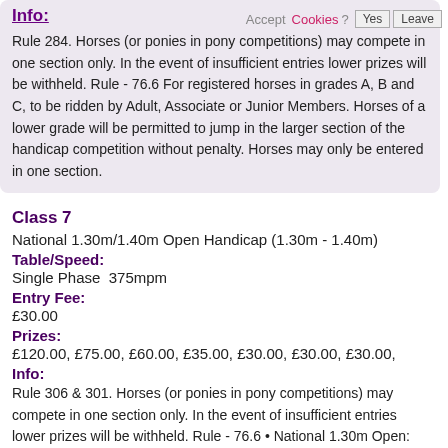Info:
Rule 284. Horses (or ponies in pony competitions) may compete in one section only. In the event of insufficient entries lower prizes will be withheld. Rule - 76.6 For registered horses in grades A, B and C, to be ridden by Adult, Associate or Junior Members. Horses of a lower grade will be permitted to jump in the larger section of the handicap competition without penalty. Horses may only be entered in one section.
Class 7
National 1.30m/1.40m Open Handicap (1.30m - 1.40m)
Table/Speed:
Single Phase  375mpm
Entry Fee:
£30.00
Prizes:
£120.00, £75.00, £60.00, £35.00, £30.00, £30.00, £30.00,
Info:
Rule 306 & 301. Horses (or ponies in pony competitions) may compete in one section only. In the event of insufficient entries lower prizes will be withheld. Rule - 76.6 • National 1.30m Open: Open to registered